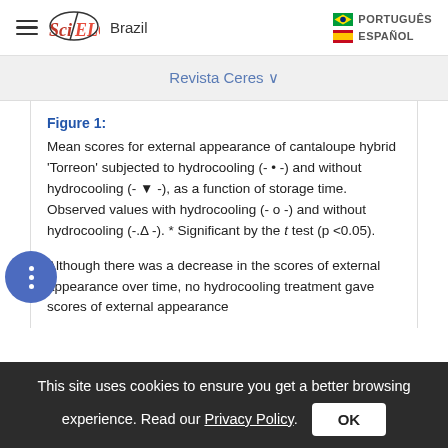SciELO Brazil | PORTUGUÊS | ESPAÑOL
Revista Ceres
Figure 1: Mean scores for external appearance of cantaloupe hybrid 'Torreon' subjected to hydrocooling (- • -) and without hydrocooling (- ▼ -), as a function of storage time. Observed values with hydrocooling (- o -) and without hydrocooling (-.Δ -). * Significant by the t test (p <0.05).
Although there was a decrease in the scores of external appearance over time, no hydrocooling treatment gave scores of external appearance
This site uses cookies to ensure you get a better browsing experience. Read our Privacy Policy.